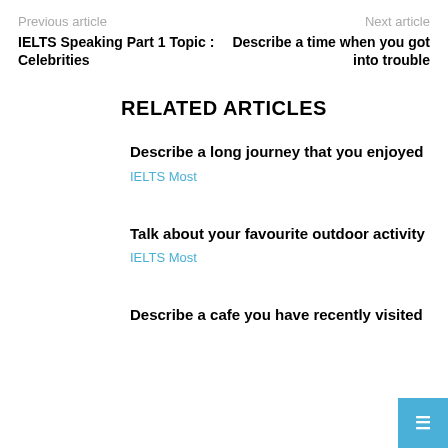Previous article | Next article
IELTS Speaking Part 1 Topic : Celebrities
Describe a time when you got into trouble
RELATED ARTICLES
Describe a long journey that you enjoyed
IELTS Most
Talk about your favourite outdoor activity
IELTS Most
Describe a cafe you have recently visited